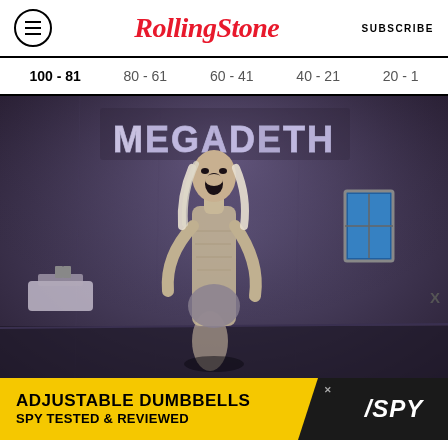Rolling Stone — SUBSCRIBE
100 - 81  80 - 61  60 - 41  40 - 21  20 - 1
[Figure (photo): Megadeth album cover showing a gaunt screaming figure in a dark room with a small window, with the Megadeth logo in metallic lettering at the top]
[Figure (other): Advertisement banner: ADJUSTABLE DUMBBELLS / SPY TESTED & REVIEWED with SPY logo on dark background]